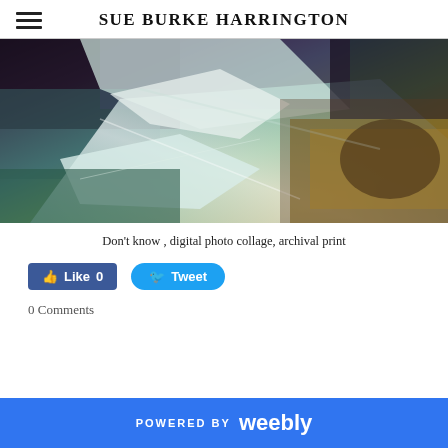SUE BURKE HARRINGTON
[Figure (photo): Digital photo collage artwork titled 'Don't know' — abstract layers of crumpled metallic/iridescent material in teal, white, green, purple, and brown tones with dark background.]
Don't know , digital photo collage, archival print
Like 0   Tweet
0 Comments
POWERED BY weebly